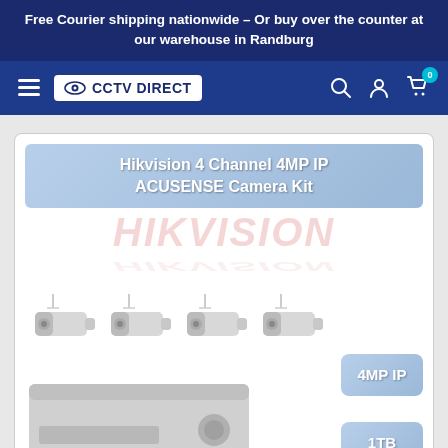Free Courier shipping nationwide – Or buy over the counter at our warehouse in Randburg
[Figure (logo): CCTV Direct navigation bar with hamburger menu, CCTV Direct logo, search icon, account icon, and cart icon with badge 0]
[Figure (screenshot): Hikvision 4 Channel 4MP IP ACUSENSE Camera Kit product card showing Hikvision watermark text, 4 bullet cameras, NVR unit, 4MP IP badge and 1TB badge]